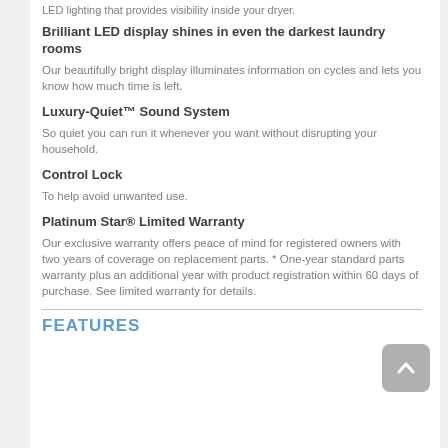LED lighting that provides visibility inside your dryer.
Brilliant LED display shines in even the darkest laundry rooms
Our beautifully bright display illuminates information on cycles and lets you know how much time is left.
Luxury-Quiet™ Sound System
So quiet you can run it whenever you want without disrupting your household.
Control Lock
To help avoid unwanted use.
Platinum Star® Limited Warranty
Our exclusive warranty offers peace of mind for registered owners with two years of coverage on replacement parts. * One-year standard parts warranty plus an additional year with product registration within 60 days of purchase. See limited warranty for details.
FEATURES